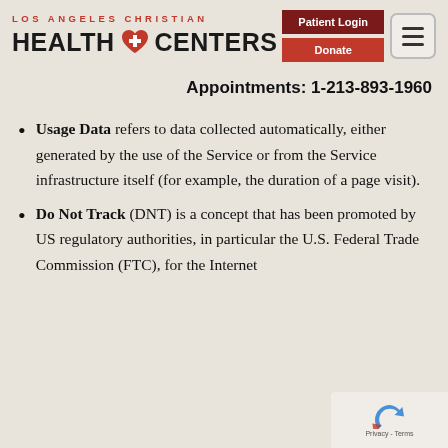[Figure (logo): Los Angeles Christian Health Centers logo with red heart and cross icon]
[Figure (other): Patient Login and Donate navigation buttons plus hamburger menu icon]
Appointments: 1-213-893-1960
Usage Data refers to data collected automatically, either generated by the use of the Service or from the Service infrastructure itself (for example, the duration of a page visit).
Do Not Track (DNT) is a concept that has been promoted by US regulatory authorities, in particular the U.S. Federal Trade Commission (FTC), for the Internet